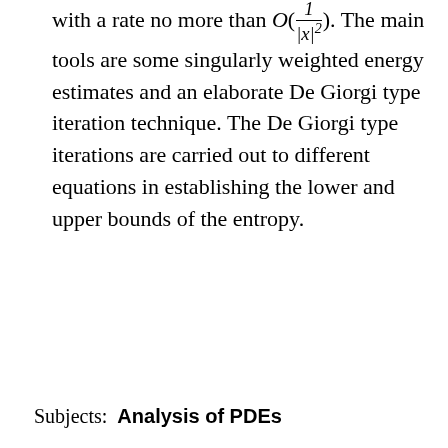with a rate no more than O(1/|x|^2). The main tools are some singularly weighted energy estimates and an elaborate De Giorgi type iteration technique. The De Giorgi type iterations are carried out to different equations in establishing the lower and upper bounds of the entropy.
Subjects:  Analysis of PDEs (math.AP)